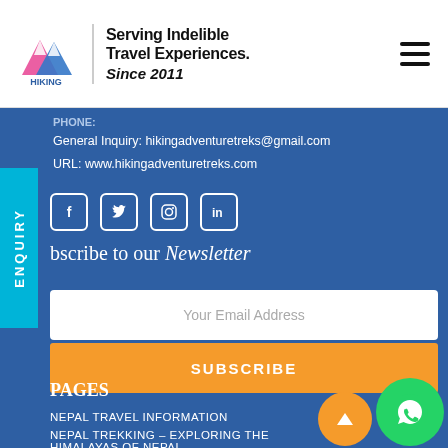[Figure (logo): Hiking Adventure Treks Pvt. Ltd. logo with mountain icon]
Serving Indelible Travel Experiences. Since 2011
Phone:
General Inquiry: hikingadventuretreks@gmail.com
URL: www.hikingadventuretreks.com
[Figure (other): Social media icons: Facebook, Twitter, Instagram, LinkedIn]
Subscribe to our Newsletter
Your Email Address
SUBSCRIBE
PAGES
NEPAL TRAVEL INFORMATION
NEPAL TREKKING – EXPLORING THE HIMALAYAS OF NEPAL